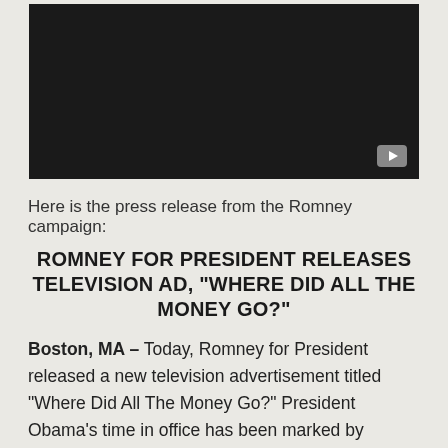[Figure (screenshot): Black video player placeholder with a YouTube play button icon in the bottom right corner]
Here is the press release from the Romney campaign:
ROMNEY FOR PRESIDENT RELEASES TELEVISION AD, “WHERE DID ALL THE MONEY GO?”
Boston, MA – Today, Romney for President released a new television advertisement titled “Where Did All The Money Go?” President Obama’s time in office has been marked by political payoffs to the donor class and layoffs for the middle class. He showered his friends with stimulus funds and sent millions of taxpayer dollars overseas. If we can’t trust him with our money, why should we trust him for another four